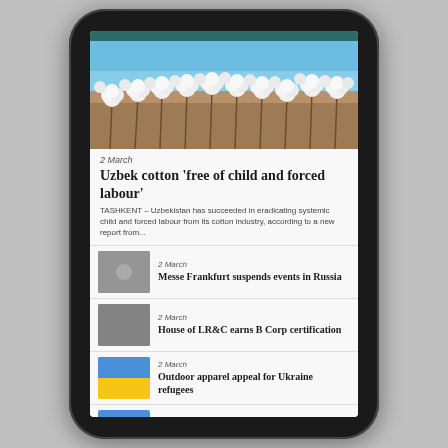[Figure (screenshot): Mobile phone screenshot showing a news app with articles about Uzbek cotton, Messe Frankfurt, House of LR&C, and Outdoor apparel for Ukraine refugees]
[Figure (photo): Cotton field with white cotton bolls against blue sky]
2 March
Uzbek cotton 'free of child and forced labour'
TASHKENT – Uzbekistan has succeeded in eradicating systemic child and forced labour from its cotton industry, according to a new report from...
2 March
Messe Frankfurt suspends events in Russia
2 March
House of LR&C earns B Corp certification
2 March
Outdoor apparel appeal for Ukraine refugees
2 March